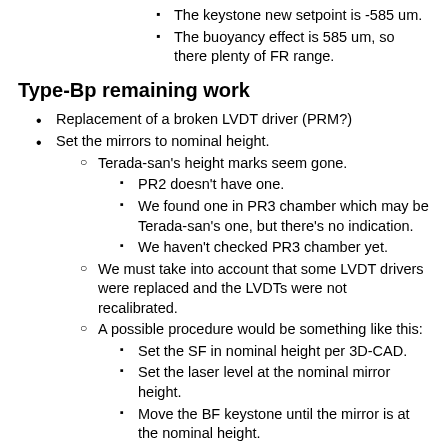The keystone new setpoint is -585 um.
The buoyancy effect is 585 um, so there plenty of FR range.
Type-Bp remaining work
Replacement of a broken LVDT driver (PRM?)
Set the mirrors to nominal height.
Terada-san's height marks seem gone.
PR2 doesn't have one.
We found one in PR3 chamber which may be Terada-san's one, but there's no indication.
We haven't checked PR3 chamber yet.
We must take into account that some LVDT drivers were replaced and the LVDTs were not recalibrated.
A possible procedure would be something like this:
Set the SF in nominal height per 3D-CAD.
Set the laser level at the nominal mirror height.
Move the BF keystone until the mirror is at the nominal height.